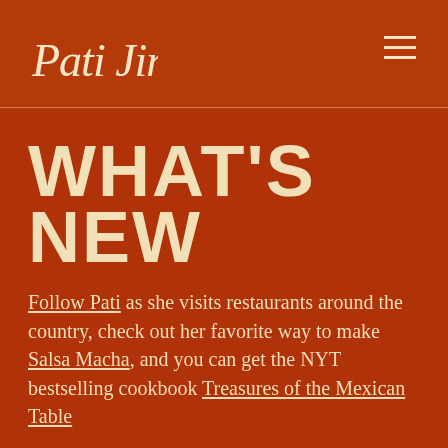Pati Jinich
WHAT'S NEW
Follow Pati as she visits restaurants around the country, check out her favorite way to make Salsa Macha, and you can get the NYT bestselling cookbook Treasures of the Mexican Table